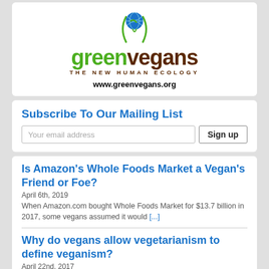[Figure (logo): Green Vegans logo with globe icon, green and brown text reading 'green vegans THE NEW HUMAN ECOLOGY', and URL www.greenvegans.org]
Subscribe To Our Mailing List
Your email address [input field] Sign up [button]
Is Amazon's Whole Foods Market a Vegan's Friend or Foe?
April 6th, 2019
When Amazon.com bought Whole Foods Market for $13.7 billion in 2017, some vegans assumed it would [...]
Why do vegans allow vegetarianism to define veganism?
April 22nd, 2017
Shake hands, declare independence. We must end our non